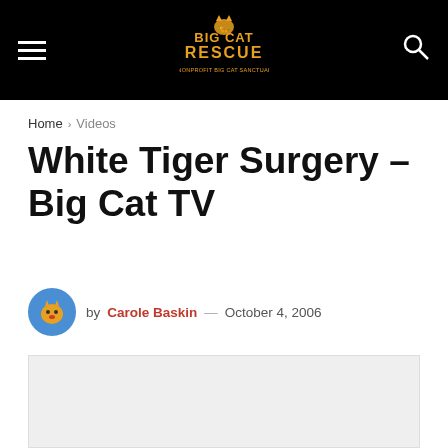Big Cat Rescue — navigation header with hamburger menu, logo, and search icon
Home › Videos
White Tiger Surgery – Big Cat TV
by Carole Baskin — October 4, 2006
[Figure (other): Video embed placeholder area (light gray rectangle)]